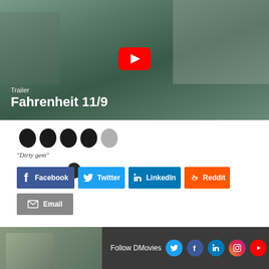[Figure (screenshot): YouTube video thumbnail for Fahrenheit 11/9 trailer showing a man outdoors with city buildings in background, with YouTube play button overlay and text 'Trailer' and 'Fahrenheit 11/9']
[Figure (illustration): Five ink-blob style rating stars, four filled black and one gray/empty, indicating a 4 out of 5 star rating]
"Dirty gem"
[Figure (illustration): Small ink blob icon below the Dirty gem quote]
Facebook  Twitter  LinkedIn  Reddit  Email
[Figure (screenshot): Bottom strip: left side shows partial movie poster thumbnail, right side dark bar with 'Follow DMovies' text and Twitter, Facebook, LinkedIn, Instagram, YouTube social media icons]